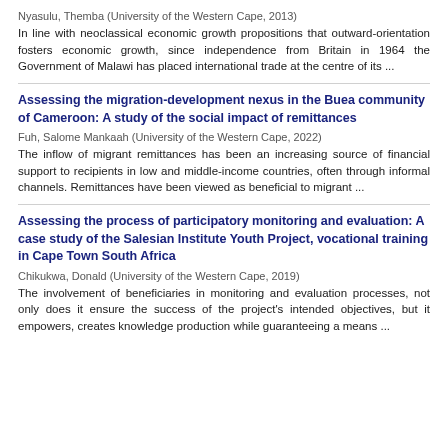Nyasulu, Themba (University of the Western Cape, 2013)
In line with neoclassical economic growth propositions that outward-orientation fosters economic growth, since independence from Britain in 1964 the Government of Malawi has placed international trade at the centre of its ...
Assessing the migration-development nexus in the Buea community of Cameroon: A study of the social impact of remittances
Fuh, Salome Mankaah (University of the Western Cape, 2022)
The inflow of migrant remittances has been an increasing source of financial support to recipients in low and middle-income countries, often through informal channels. Remittances have been viewed as beneficial to migrant ...
Assessing the process of participatory monitoring and evaluation: A case study of the Salesian Institute Youth Project, vocational training in Cape Town South Africa
Chikukwa, Donald (University of the Western Cape, 2019)
The involvement of beneficiaries in monitoring and evaluation processes, not only does it ensure the success of the project's intended objectives, but it empowers, creates knowledge production while guaranteeing a means ...